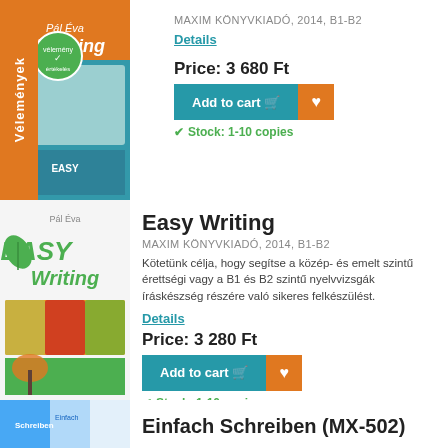[Figure (illustration): Easy Listening book cover with orange design]
Details
Price: 3 680 Ft
Stock: 1-10 copies
[Figure (illustration): Easy Writing book cover with green design and pencils]
Easy Writing
MAXIM KÖNYVKIADÓ, 2014, B1-B2
Kötetünk célja, hogy segítse a közép- és emelt szintű érettségi vagy a B1 és B2 szintű nyelvvizsgák íráskészség részére való sikeres felkészülést.
Details
Price: 3 280 Ft
Stock: 1-10 copies
[Figure (illustration): Einfach Schreiben book cover with blue design]
Einfach Schreiben (MX-502)